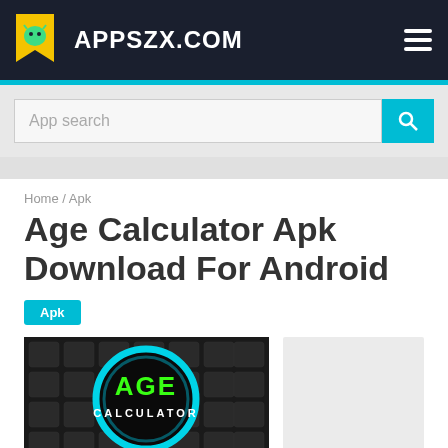APPSZX.COM
App search
Home / Apk
Age Calculator Apk Download For Android
Apk
[Figure (screenshot): Age Calculator app icon showing a blue circular ring with green glowing text 'AGE' and white text 'CALCULATOR' on a dark keyboard background]